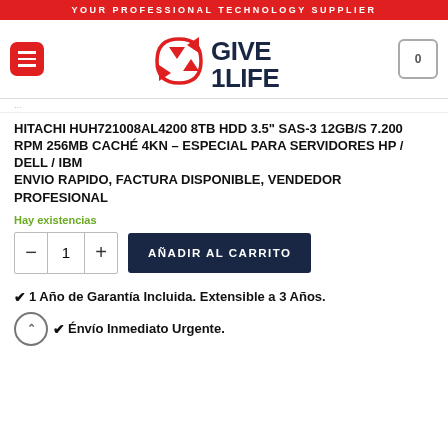YOUR PROFESSIONAL TECHNOLOGY SUPPLIER
[Figure (logo): Give1Life logo with red arrows recycling symbol and dark bold text GIVE 1LIFE]
HITACHI HUH721008AL4200 8TB HDD 3.5” SAS-3 12GB/S 7.200 RPM 256MB CACHÉ 4KN – ESPECIAL PARA SERVIDORES HP / DELL / IBM ENVIO RAPIDO, FACTURA DISPONIBLE, VENDEDOR PROFESIONAL
Hay existencias
✓ 1 Año de Garantía Incluida. Extensible a 3 Años.
✓ Envío Inmediato Urgente.